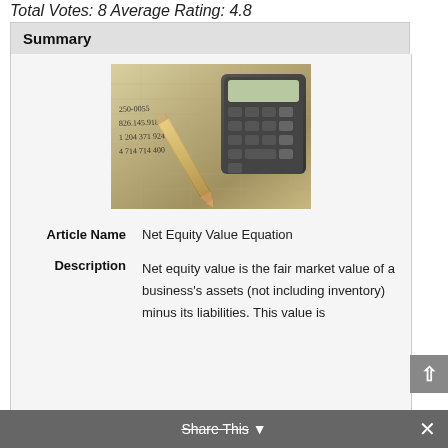Total Votes: 8 Average Rating: 4.8
Summary
[Figure (photo): Photo of a pencil resting on a handwritten ledger/spreadsheet with numbers, alongside a dark calculator — finance/accounting themed image]
| Article Name | Net Equity Value Equation |
| Description | Net equity value is the fair market value of a business's assets (not including inventory) minus its liabilities. This value is |
Share This ×